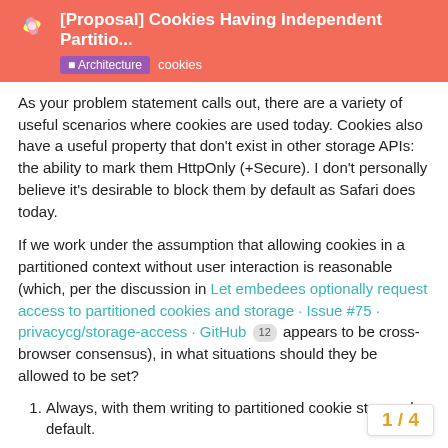[Proposal] Cookies Having Independent Partitio...
As your problem statement calls out, there are a variety of useful scenarios where cookies are used today. Cookies also have a useful property that don't exist in other storage APIs: the ability to mark them HttpOnly (+Secure). I don't personally believe it's desirable to block them by default as Safari does today.
If we work under the assumption that allowing cookies in a partitioned context without user interaction is reasonable (which, per the discussion in Let embedees optionally request access to partitioned cookies and storage · Issue #75 · privacycg/storage-access · GitHub 12 appears to be cross-browser consensus), in what situations should they be allowed to be set?
Always, with them writing to partitioned cookie storage by default.
If/when an explicit JavaScript call is made to unlock access (as described in the Storage Access API issue link).
When they are explicitly marked as h...
1 / 4